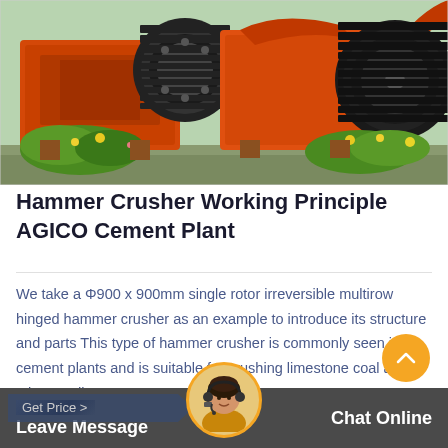[Figure (photo): Photograph of large orange industrial hammer crushers / jaw crushers on a factory floor surrounded by green plants and yellow flowers]
Hammer Crusher Working Principle AGICO Cement Plant
We take a Φ900 x 900mm single rotor irreversible multirow hinged hammer crusher as an example to introduce its structure and parts This type of hammer crusher is commonly seen in cement plants and is suitable for crushing limestone coal and other medium...
Get Price >  Leave Message   Chat Online